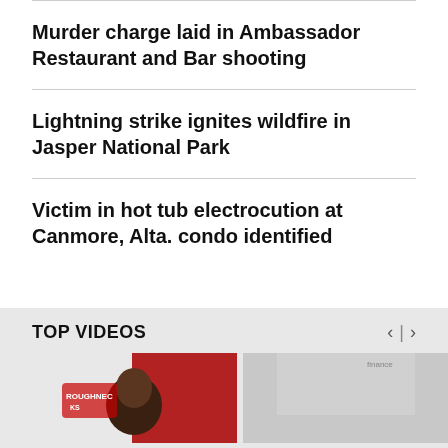Murder charge laid in Ambassador Restaurant and Bar shooting
Lightning strike ignites wildfire in Jasper National Park
Victim in hot tub electrocution at Canmore, Alta. condo identified
TOP VIDEOS
[Figure (photo): Video thumbnail showing a person in front of a Roughnecks logo with red background]
[Figure (photo): Partially visible video thumbnail with light/grey background]